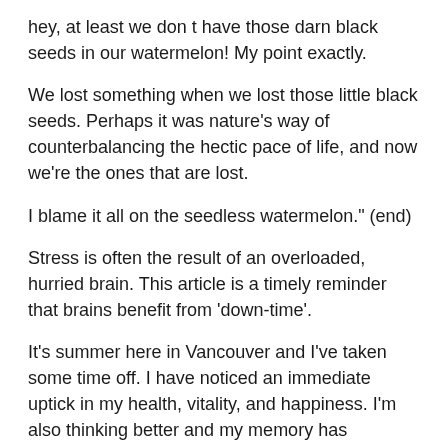hey, at least we don t have those darn black seeds in our watermelon! My point exactly.
We lost something when we lost those little black seeds. Perhaps it was nature's way of counterbalancing the hectic pace of life, and now we're the ones that are lost.
I blame it all on the seedless watermelon." (end)
Stress is often the result of an overloaded, hurried brain. This article is a timely reminder that brains benefit from 'down-time'.
It's summer here in Vancouver and I've taken some time off. I have noticed an immediate uptick in my health, vitality, and happiness. I'm also thinking better and my memory has improved.
Here a few suggestions to try:
Unplug more often. Try and go tech free for one